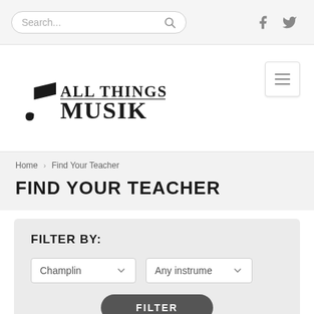Search... [search icon] [facebook icon] [twitter icon]
[Figure (logo): All Things Musik logo with musical note]
Home > Find Your Teacher
FIND YOUR TEACHER
FILTER BY:
Champlin [dropdown] Any instrume [dropdown]
FILTER